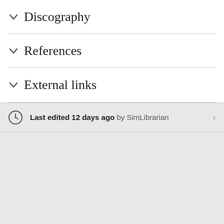Discography
References
External links
Last edited 12 days ago by SimLibrarian